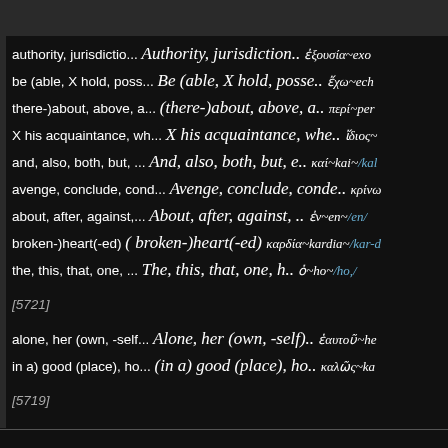authority, jurisdictio...  Authority, jurisdiction..  ἐξουσία~exo
be (able, X hold, poss...  Be (able, X hold, posse..  ἔχω~ech
there-)about, above, a...  (there-)about, above, a..  περί~per
X his acquaintance, wh...  X his acquaintance, whe..  ἴδιος~
and, also, both, but, ...  And, also, both, but, e..  καί~kai~/kal
avenge, conclude, cond...  Avenge, conclude, conde..  κρίνω
about, after, against,...  About, after, against, ..  ἐν~en~/en/
broken-)heart(-ed)  ( broken-)heart(-ed)  καρδία~kardia~/kar-d
the, this, that, one, ...  The, this, that, one, h..  ὁ~ho~/ho,/
[5721]
alone, her (own, -self...  Alone, her (own, -self)..  ἑαυτοῦ~he
in a) good (place), ho...  (in a) good (place), ho..  καλῶς~ka
[5719]